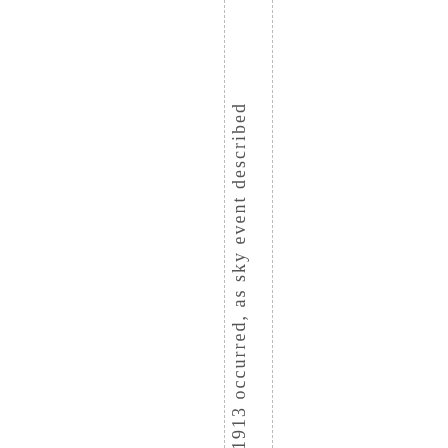1913 occurred, as sky event described